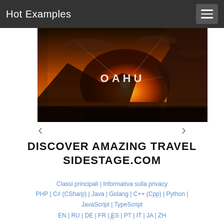Hot Examples
[Figure (photo): Sunset photo of Oahu, Hawaii — dramatic orange sky with sunburst, silhouetted rocky cliff on right, ocean in foreground, text 'OAHU' overlaid in white]
DISCOVER AMAZING TRAVEL
SIDESTAGE.COM
Classi principali | Informativa sulla privacy
PHP | C# (CSharp) | Java | Golang | C++ (Cpp) | Python | JavaScript | TypeScript
EN | RU | DE | FR | ES | PT | IT | JA | ZH